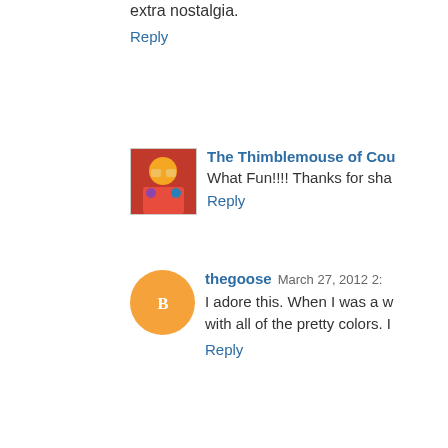extra nostalgia.
Reply
The Thimblemouse of Cou
What Fun!!!! Thanks for sha
Reply
thegoose  March 27, 2012 2:
I adore this. When I was a w with all of the pretty colors. I
Reply
modernamishplain  March
what a fun idea!
Reply
Greta  March 27, 2012 2:39
Love it! Takes me back. :-)
Reply